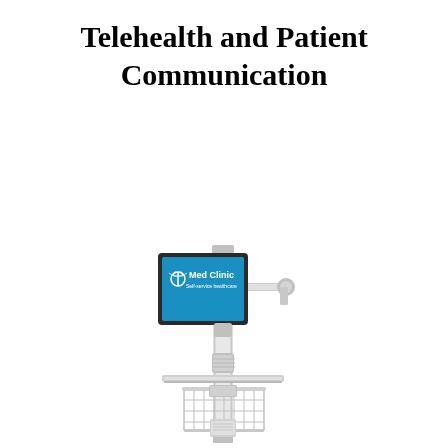Telehealth and Patient Communication
[Figure (photo): A medical telehealth kiosk on a vertical pole stand, featuring a tablet/monitor mounted on an articulating arm showing a 'Med Clinic Self-service healthcare' screen with blue background and caduceus logo, a lower shelf, a wire basket, and a base unit — all in white/silver finish, photographed against a white background.]